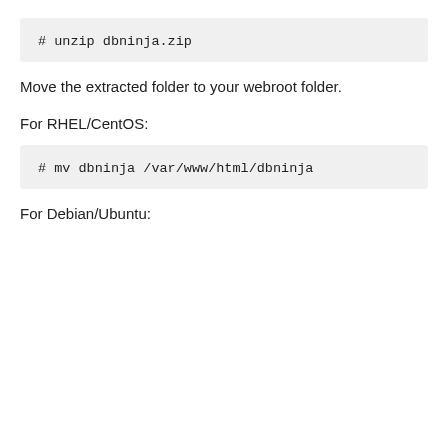[Figure (other): Code block showing: # unzip dbninja.zip]
Move the extracted folder to your webroot folder.
For RHEL/CentOS:
[Figure (other): Code block showing: # mv dbninja /var/www/html/dbninja]
For Debian/Ubuntu: